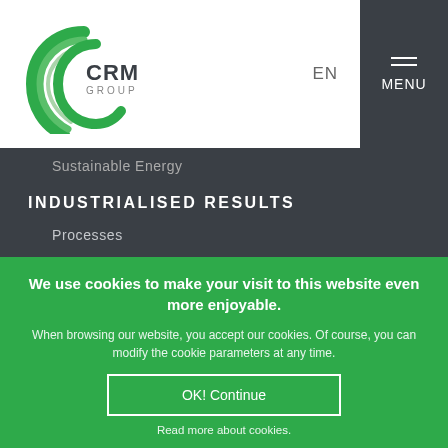[Figure (logo): CRM Group logo with stylized C/globe mark and text 'CRM GROUP']
EN  MENU
Sustainable Energy
INDUSTRIALISED RESULTS
Processes
Measurements and Sensors
Coatings
Licensed Companies
ISYROLL
We use cookies to make your visit to this website even more enjoyable.
When browsing our website, you accept our cookies. Of course, you can modify the cookie parameters at any time.
OK! Continue
Read more about cookies.